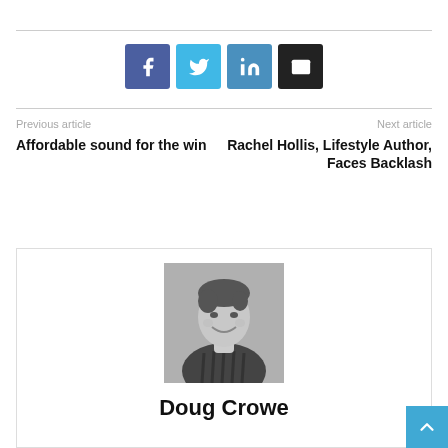[Figure (other): Social media share buttons: Facebook (dark blue), Twitter (light blue), LinkedIn (medium blue), Email (black)]
Previous article
Affordable sound for the win
Next article
Rachel Hollis, Lifestyle Author, Faces Backlash
[Figure (photo): Black and white headshot photo of Doug Crowe, a man smiling, wearing a striped shirt]
Doug Crowe